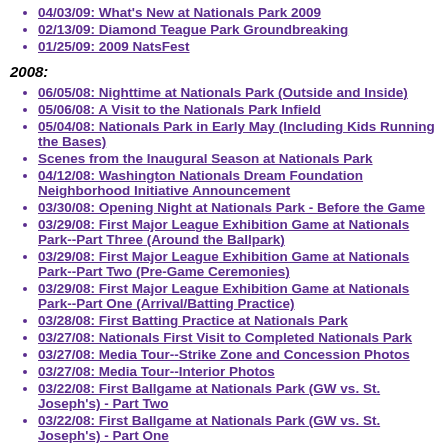04/03/09: What's New at Nationals Park 2009
02/13/09: Diamond Teague Park Groundbreaking
01/25/09: 2009 NatsFest
2008:
06/05/08: Nighttime at Nationals Park (Outside and Inside)
05/06/08: A Visit to the Nationals Park Infield
05/04/08: Nationals Park in Early May (Including Kids Running the Bases)
Scenes from the Inaugural Season at Nationals Park
04/12/08: Washington Nationals Dream Foundation Neighborhood Initiative Announcement
03/30/08: Opening Night at Nationals Park - Before the Game
03/29/08: First Major League Exhibition Game at Nationals Park--Part Three (Around the Ballpark)
03/29/08: First Major League Exhibition Game at Nationals Park--Part Two (Pre-Game Ceremonies)
03/29/08: First Major League Exhibition Game at Nationals Park--Part One (Arrival/Batting Practice)
03/28/08: First Batting Practice at Nationals Park
03/27/08: Nationals First Visit to Completed Nationals Park
03/27/08: Media Tour--Strike Zone and Concession Photos
03/27/08: Media Tour--Interior Photos
03/22/08: First Ballgame at Nationals Park (GW vs. St. Joseph's) - Part Two
03/22/08: First Ballgame at Nationals Park (GW vs. St. Joseph's) - Part One
03/19/08: Nighttime Visit to the Ballpark
03/19/08: Stan Kasten Rides the Metro to Nationals Park
03/06/08: Nationals Ballpark Cherry Blossom Tree Planting
03/04/08: Nationals Ballpark Home Plate Installation and Video Board Unveiling